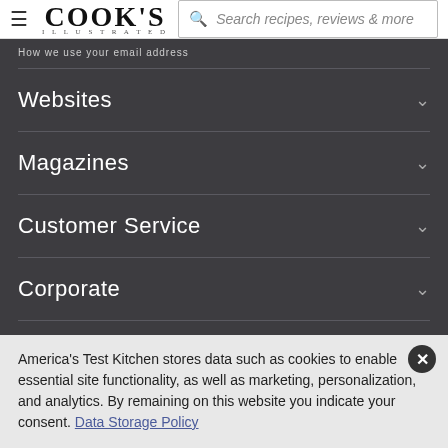Cook's Illustrated — Search recipes, reviews & more
How we use your email address
Websites
Magazines
Customer Service
Corporate
America's Test Kitchen stores data such as cookies to enable essential site functionality, as well as marketing, personalization, and analytics. By remaining on this website you indicate your consent. Data Storage Policy